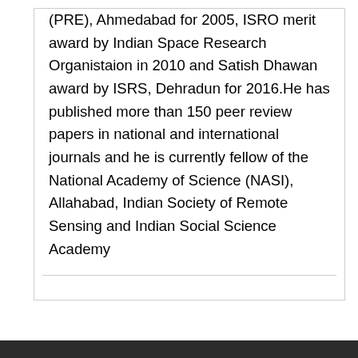(PRE), Ahmedabad for 2005, ISRO merit award by Indian Space Research Organistaion in 2010 and Satish Dhawan award by ISRS, Dehradun for 2016.He has published more than 150 peer review papers in national and international journals and he is currently fellow of the National Academy of Science (NASI), Allahabad, Indian Society of Remote Sensing and Indian Social Science Academy